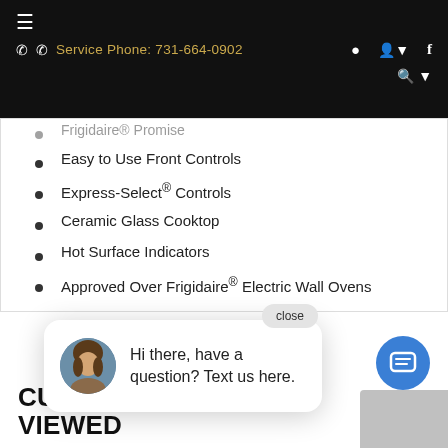≡  ☎ Service Phone: 731-664-0902  📍  👤▾  f  🔍▾
Frigidaire® Promise (partial)
Easy to Use Front Controls
Express-Select® Controls
Ceramic Glass Cooktop
Hot Surface Indicators
Approved Over Frigidaire® Electric Wall Ovens
close
Hi there, have a question? Text us here.
CUSTOMERS ALSO VIEWED